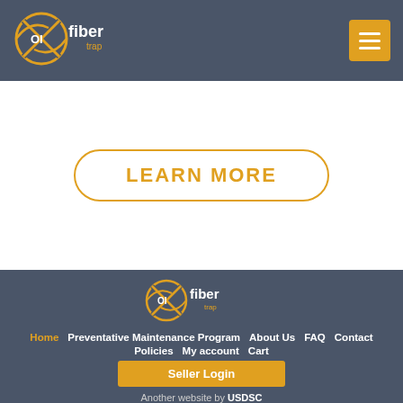[Figure (logo): OIFiber Trap logo with yellow circular design and stylized text on dark header background]
[Figure (other): Hamburger menu button (three horizontal lines on yellow/orange square background)]
LEARN MORE
[Figure (logo): OIFiber Trap logo in footer area on dark background]
Home  Preventative Maintenance Program  About Us  FAQ  Contact  Policies  My account  Cart
Seller Login
Another website by USDSC